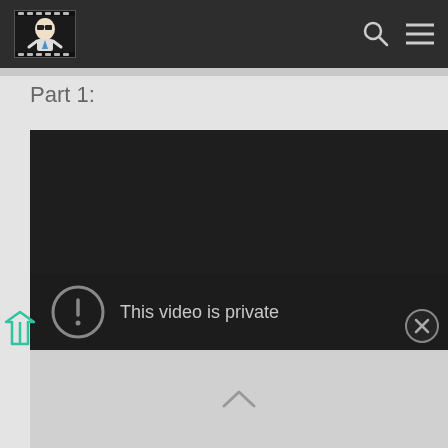Navigation bar with logo and icons
Part 1:
[Figure (screenshot): Embedded video player showing 'This video is private' error message with a circular exclamation icon and a close button in the bottom-right corner.]